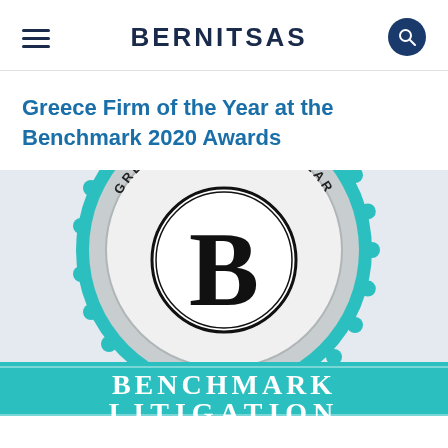BERNITSAS
Greece Firm of the Year at the Benchmark 2020 Awards
[Figure (logo): Benchmark Litigation award badge showing 'Greece Firm of the Year' text around a grey scalloped circle with teal rim, a large B logo in the center, and a teal ribbon banner at the bottom reading 'BENCHMARK LITIGATION']